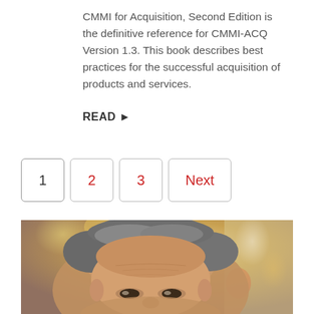CMMI for Acquisition, Second Edition is the definitive reference for CMMI-ACQ Version 1.3. This book describes best practices for the successful acquisition of products and services.
READ ▶
1  2  3  Next
[Figure (photo): Close-up photo of a middle-aged man with grey hair looking upward, blurred colorful background]